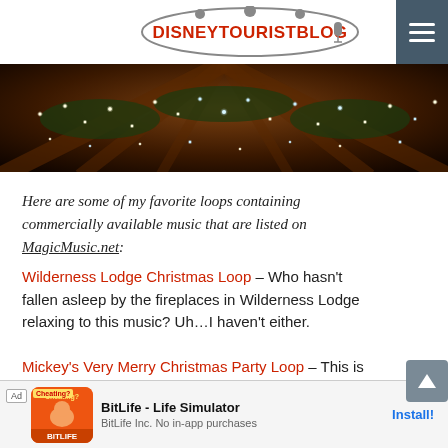DISNEYTOURISTBLOG
[Figure (photo): Christmas lights and decorations at Wilderness Lodge, warm amber ceiling with hanging lights]
Here are some of my favorite loops containing commercially available music that are listed on MagicMusic.net:
Wilderness Lodge Christmas Loop – Who hasn't fallen asleep by the fireplaces in Wilderness Lodge relaxing to this music? Uh…I haven't either.
Mickey's Very Merry Christmas Party Loop – This is my all-time FAVORITE Christmas loop at Walt Disney World, and is by far my most played loop at Christmas (I used Audacity to combine all of the songs into a loop). I highly … create this lo…